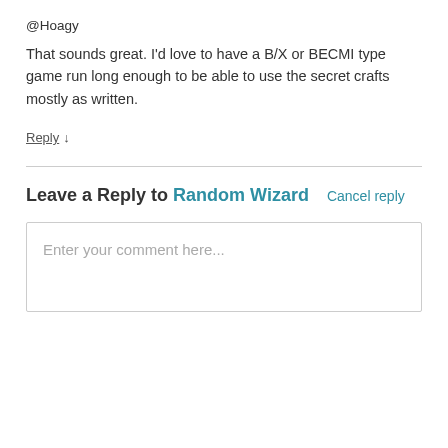@Hoagy
That sounds great. I'd love to have a B/X or BECMI type game run long enough to be able to use the secret crafts mostly as written.
Reply ↓
Leave a Reply to Random Wizard   Cancel reply
Enter your comment here...